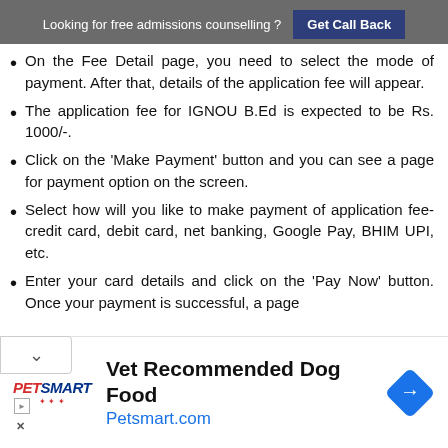Looking for free admissions counselling ? Get Call Back
On the Fee Detail page, you need to select the mode of payment. After that, details of the application fee will appear.
The application fee for IGNOU B.Ed is expected to be Rs. 1000/-.
Click on the 'Make Payment' button and you can see a page for payment option on the screen.
Select how will you like to make payment of application fee- credit card, debit card, net banking, Google Pay, BHIM UPI, etc.
Enter your card details and click on the 'Pay Now' button. Once your payment is successful, a page
[Figure (infographic): PetSmart advertisement banner: 'Vet Recommended Dog Food' with Petsmart.com URL and navigation icon]